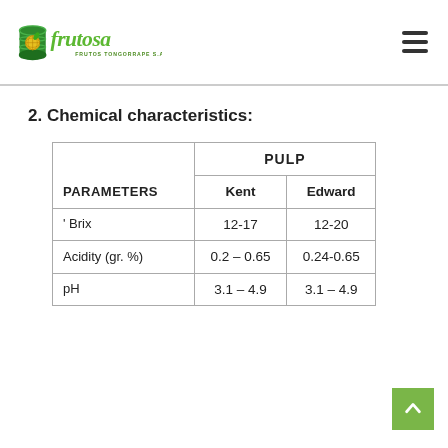[Figure (logo): Frutosa Frutos Tongorrape S.A. logo with green barrel and fruit icon, green italic text 'frutosa']
2. Chemical characteristics:
| PARAMETERS | PULP / Kent | PULP / Edward |
| --- | --- | --- |
| ' Brix | 12-17 | 12-20 |
| Acidity (gr. %) | 0.2 – 0.65 | 0.24-0.65 |
| pH | 3.1 – 4.9 | 3.1 – 4.9 |